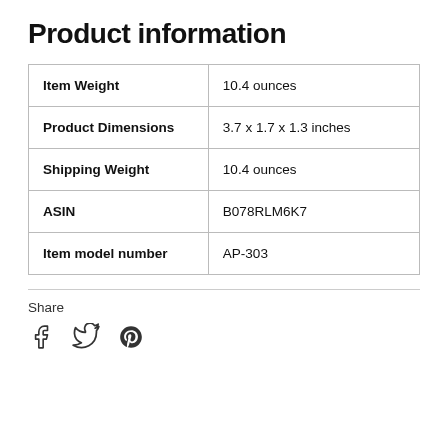Product information
| Item Weight | 10.4 ounces |
| Product Dimensions | 3.7 x 1.7 x 1.3 inches |
| Shipping Weight | 10.4 ounces |
| ASIN | B078RLM6K7 |
| Item model number | AP-303 |
Share
[Figure (illustration): Social share icons: Facebook, Twitter, Pinterest]